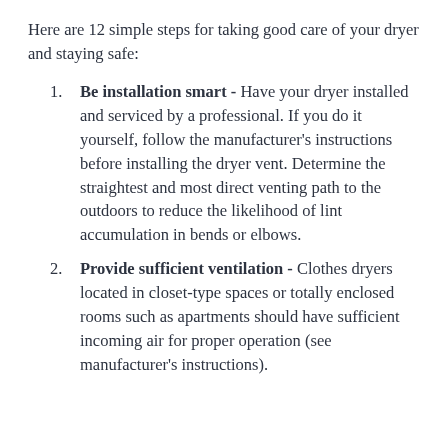Here are 12 simple steps for taking good care of your dryer and staying safe:
Be installation smart - Have your dryer installed and serviced by a professional. If you do it yourself, follow the manufacturer's instructions before installing the dryer vent. Determine the straightest and most direct venting path to the outdoors to reduce the likelihood of lint accumulation in bends or elbows.
Provide sufficient ventilation - Clothes dryers located in closet-type spaces or totally enclosed rooms such as apartments should have sufficient incoming air for proper operation (see manufacturer's instructions).